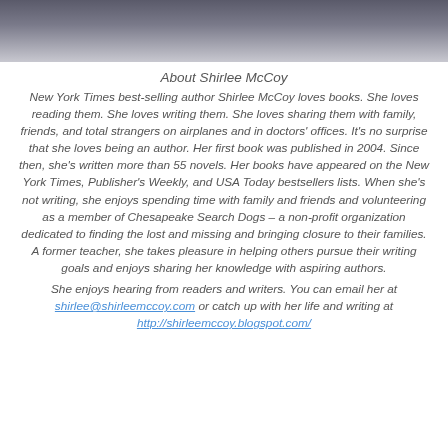[Figure (photo): Partial portrait photo of a person, showing the top of their head and shoulders against a dark background, cropped at the bottom.]
About Shirlee McCoy
New York Times best-selling author Shirlee McCoy loves books. She loves reading them. She loves writing them. She loves sharing them with family, friends, and total strangers on airplanes and in doctors' offices. It's no surprise that she loves being an author. Her first book was published in 2004. Since then, she's written more than 55 novels. Her books have appeared on the New York Times, Publisher's Weekly, and USA Today bestsellers lists. When she's not writing, she enjoys spending time with family and friends and volunteering as a member of Chesapeake Search Dogs – a non-profit organization dedicated to finding the lost and missing and bringing closure to their families. A former teacher, she takes pleasure in helping others pursue their writing goals and enjoys sharing her knowledge with aspiring authors.
She enjoys hearing from readers and writers. You can email her at shirlee@shirleemccoy.com or catch up with her life and writing at http://shirleemccoy.blogspot.com/.